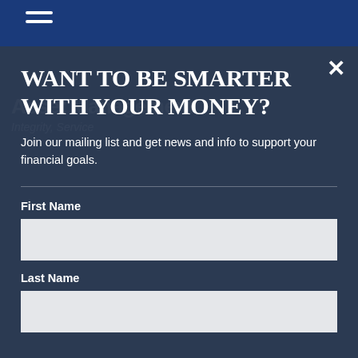Navigation bar with hamburger menu
WANT TO BE SMARTER WITH YOUR MONEY?
Join our mailing list and get news and info to support your financial goals.
First Name
Last Name